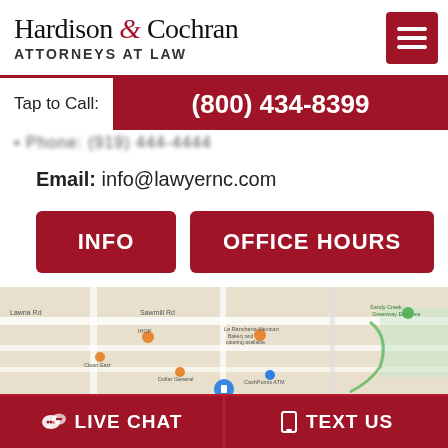Hardison & Cochran ATTORNEYS AT LAW
Tap to Call: (800) 434-8399
Phone: (blurred number)
Email: info@lawyernc.com
INFO
OFFICE HOURS
[Figure (map): Google Maps screenshot showing local area near law office]
LIVE CHAT
TEXT US